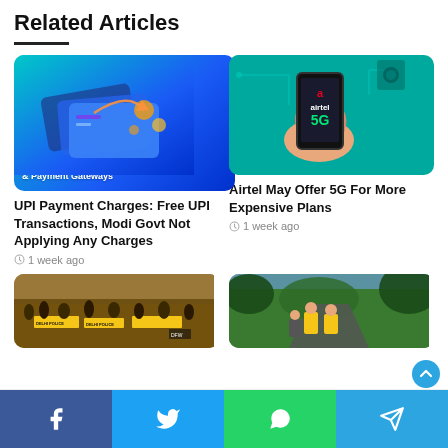Related Articles
[Figure (illustration): UPI payment illustration with blue gradient background showing payment cards and coins, labeled 'UPI, Payment Links & Payment Gateways']
UPI Payment Charges: Free UPI Transactions, Modi Govt Not Applying Any Charges
1 week ago
[Figure (illustration): Airtel 5G illustration showing a hand holding a phone with Airtel logo and 5G text on teal background]
Airtel May Offer 5G For More Expensive Plans
1 week ago
[Figure (photo): Crowd at a protest or rally with yellow banners]
[Figure (photo): People in yellow clothing on a forest road]